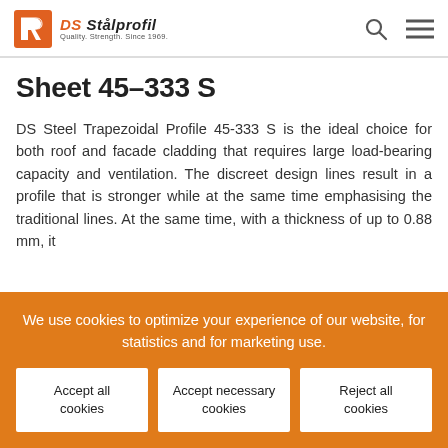DS Stålprofil — Quality. Strength. Since 1969.
Sheet 45–333 S
DS Steel Trapezoidal Profile 45-333 S is the ideal choice for both roof and facade cladding that requires large load-bearing capacity and ventilation. The discreet design lines result in a profile that is stronger while at the same time emphasising the traditional lines. At the same time, with a thickness of up to 0.88 mm, it
We use cookies to optimize your experience of our website, for statistics and for marketing use.
Accept all cookies
Accept necessary cookies
Reject all cookies